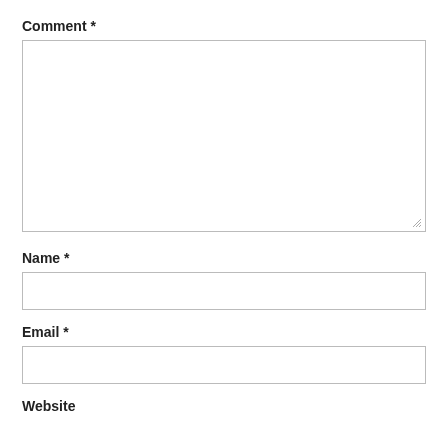Comment *
[Figure (other): Large empty textarea input box with resize handle in bottom-right corner]
Name *
[Figure (other): Single-line text input box for Name]
Email *
[Figure (other): Single-line text input box for Email]
Website